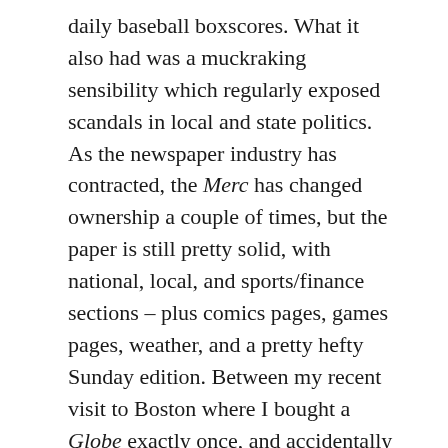daily baseball boxscores. What it also had was a muckraking sensibility which regularly exposed scandals in local and state politics. As the newspaper industry has contracted, the Merc has changed ownership a couple of times, but the paper is still pretty solid, with national, local, and sports/finance sections – plus comics pages, games pages, weather, and a pretty hefty Sunday edition. Between my recent visit to Boston where I bought a Globe exactly once, and accidentally receiving a copy of the San Francisco Chronicle last week, I have a new appreciation for the Merc's standing among daily newspapers.
My current home town of Mountain View also